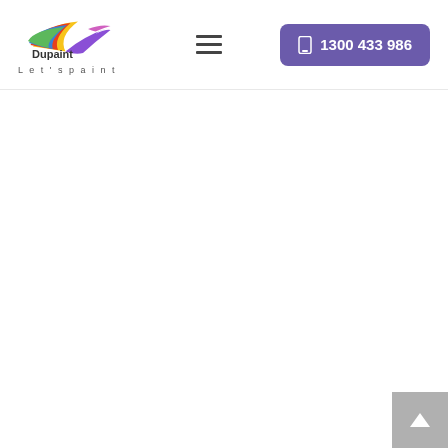[Figure (logo): Dupaint logo with colorful paint brush swoosh and text 'Dupaint' with tagline 'Let's paint']
[Figure (other): Hamburger menu icon (three horizontal lines)]
[Figure (other): Purple button with phone icon and number 1300 433 986]
[Figure (other): Gray back-to-top button with upward arrow in bottom right corner]